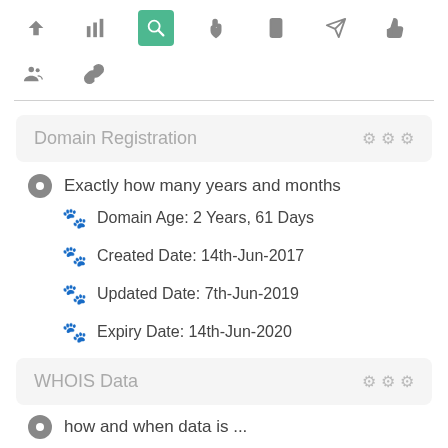[Figure (screenshot): Toolbar row with navigation icons: up arrow, bar chart, search (active/green), pointer, mobile, send, thumbs up]
[Figure (screenshot): Second toolbar row with group/people icon and chain-link icon]
Domain Registration
Exactly how many years and months
Domain Age: 2 Years, 61 Days
Created Date: 14th-Jun-2017
Updated Date: 7th-Jun-2019
Expiry Date: 14th-Jun-2020
WHOIS Data